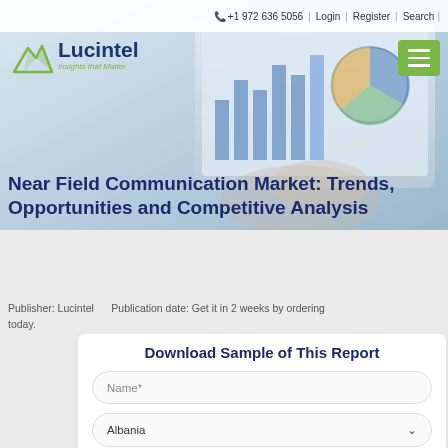+1 972 636 5056 | Login | Register | Search
[Figure (screenshot): Hero banner with a person holding a tablet showing charts and graphs, with bluish-grey gradient background]
[Figure (logo): Lucintel logo with green mountain/arrow icon and text 'Lucintel — Insights that Matter']
Near Field Communication Market: Trends, Opportunities and Competitive Analysis
Publisher: Lucintel    Publication date: Get it in 2 weeks by ordering today.
Download Sample of This Report
Name*
Albania